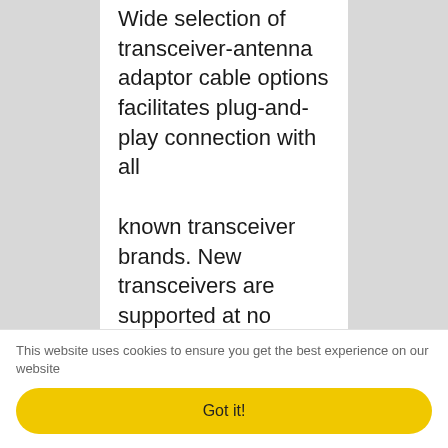Wide selection of transceiver-antenna adaptor cable options facilitates plug-and-play connection with all known transceiver brands. New transceivers are supported at no charge via timely on-line software releases.
ALL HF AMATEUR BANDS COVERAGE
Tune from ANY previous to
This website uses cookies to ensure you get the best experience on our website
Got it!